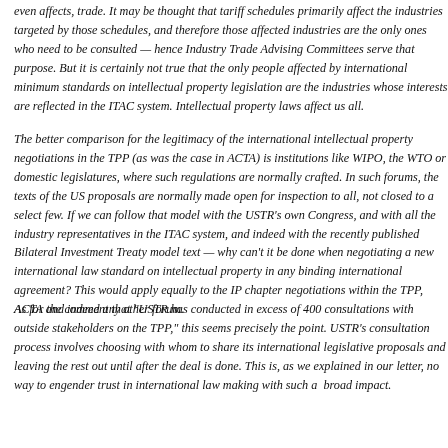even affects, trade. It may be thought that tariff schedules primarily affect the industries targeted by those schedules, and therefore those affected industries are the only ones who need to be consulted — hence Industry Trade Advising Committees serve that purpose. But it is certainly not true that the only people affected by international minimum standards on intellectual property legislation are the industries whose interests are reflected in the ITAC system. Intellectual property laws affect us all.
The better comparison for the legitimacy of the international intellectual property negotiations in the TPP (as was the case in ACTA) is institutions like WIPO, the WTO or domestic legislatures, where such regulations are normally crafted. In such forums, the texts of the US proposals are normally made open for inspection to all, not closed to a select few. If we can follow that model with the USTR's own Congress, and with all the industry representatives in the ITAC system, and indeed with the recently published Bilateral Investment Treaty model text — why can't it be done when negotiating a new international law standard on intellectual property in any binding international agreement? This would apply equally to the IP chapter negotiations within the TPP, ACTA and indeed any other forum.
As for the comment that "USTR has conducted in excess of 400 consultations with outside stakeholders on the TPP," this seems precisely the point. USTR's consultation process involves choosing with whom to share its international legislative proposals and leaving the rest out until after the deal is done. This is, as we explained in our letter, no way to engender trust in international law making with such a  broad impact.